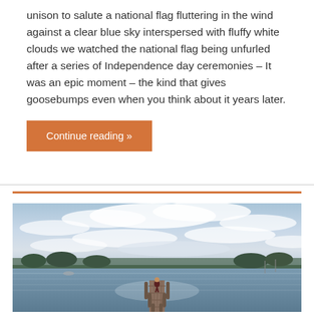unison to salute a national flag fluttering in the wind against a clear blue sky interspersed with fluffy white clouds we watched the national flag being unfurled after a series of Independence day ceremonies – It was an epic moment – the kind that gives goosebumps even when you think about it years later.
Continue reading »
[Figure (photo): A person standing at the end of a wooden dock extending into a calm lake, with a cloudy sky and trees visible in the background.]